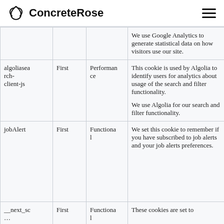ConcreteRose
| Name | Party | Category | Description | Expiry |
| --- | --- | --- | --- | --- |
|  |  |  | We use Google Analytics to generate statistical data on how visitors use our site. |  |
| algoliasearch-client-js | First | Performance | This cookie is used by Algolia to identify users for analytics about usage of the search and filter functionality.

We use Algolia for our search and filter functionality. | sessi… |
| jobAlert | First | Functional | We set this cookie to remember if you have subscribed to job alerts and your job alerts preferences. | No expi… (loca… stora… item… |
| __next_sc… | First | Functional | These cookies are set to | sessi… |